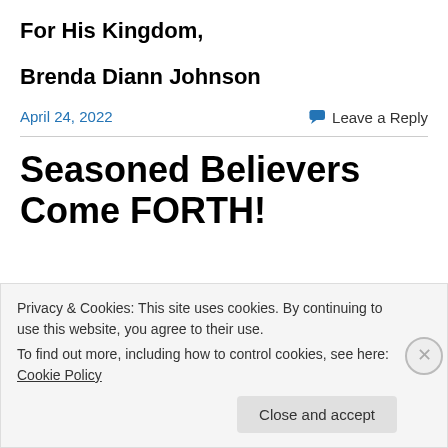For His Kingdom,
Brenda Diann Johnson
April 24, 2022
Leave a Reply
Seasoned Believers Come FORTH!
Privacy & Cookies: This site uses cookies. By continuing to use this website, you agree to their use.
To find out more, including how to control cookies, see here: Cookie Policy
Close and accept